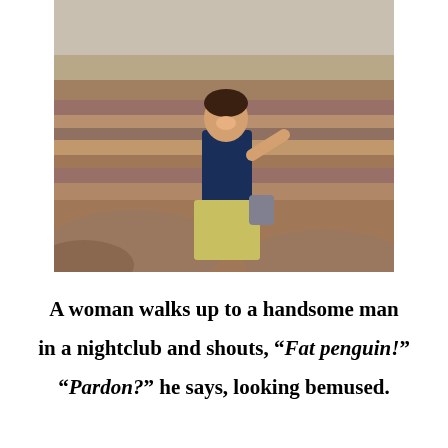[Figure (photo): A young woman smiling and posing at the Grand Canyon, wearing a dark navy tank top, striped skirt, and carrying a bag. She is gesturing with one hand raised. Canyon rock layers are visible in the background.]
A woman walks up to a handsome man in a nightclub and shouts, “Fat penguin!” “Pardon?” he says, looking bemused.